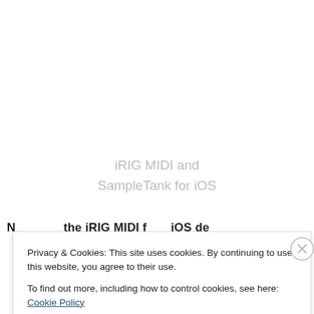iRIG MIDI and
SampleTank for iOS
N…the iRIG MIDI for iOS de…
Privacy & Cookies: This site uses cookies. By continuing to use this website, you agree to their use.
To find out more, including how to control cookies, see here: Cookie Policy
Close and accept